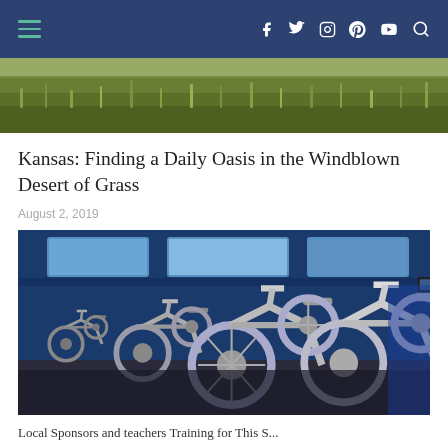Navigation bar with hamburger menu, social icons (Facebook, Twitter, Instagram, Pinterest, YouTube) and search
[Figure (photo): Aerial or close-up view of windblown grass field in Kansas]
Kansas: Finding a Daily Oasis in the Windblown Desert of Grass
August 2, 2019
[Figure (photo): Indoor spin/cycling class room with rows of stationary exercise bikes against blue walls]
Local Sponsors and teachers Training for This S...